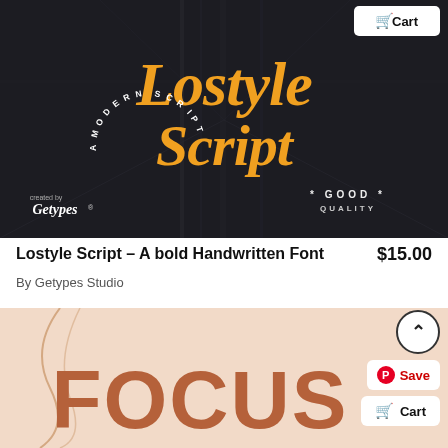[Figure (illustration): Dark themed promotional banner for 'Lostyle Script – A Modern Script' font by Getypes. Orange bold handwritten script text reading 'Lostyle Script' centered on dark background with city street blur, circular text reading 'A MODERN SCRIPT', 'created by Getypes' logo bottom left, '* GOOD * QUALITY' text bottom right. Cart button top right.]
Lostyle Script – A bold Handwritten Font
$15.00
By Getypes Studio
[Figure (illustration): Light peach/beige colored product preview image showing partial bold rounded font lettering spelling 'FOCUS' in dark terracotta/brown color. Abstract curved line decoration visible on left side. Save and Cart floating buttons on right edge.]